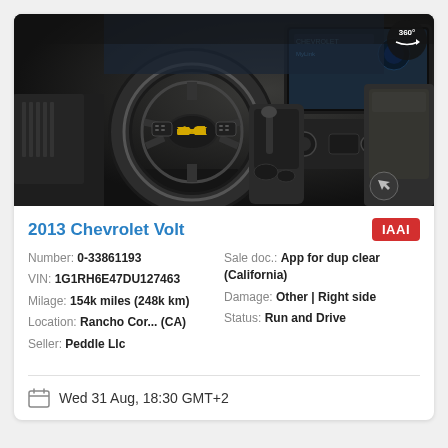[Figure (photo): Interior photo of a 2013 Chevrolet Volt showing the steering wheel with Chevrolet bowtie logo, dashboard, center console, infotainment screen, and passenger seat. A 360° badge is visible in the upper right corner.]
2013 Chevrolet Volt
Number: 0-33861193
VIN: 1G1RH6E47DU127463
Milage: 154k miles (248k km)
Location: Rancho Cor... (CA)
Seller: Peddle Llc
Sale doc.: App for dup clear (California)
Damage: Other | Right side
Status: Run and Drive
Wed 31 Aug, 18:30 GMT+2